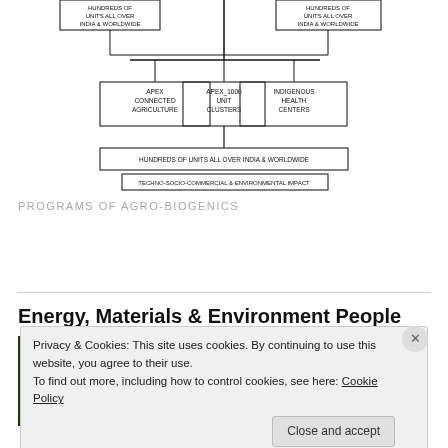[Figure (organizational-chart): Organizational chart showing apex body connected to hundreds of units all over India & Worldwide, with sub-units: APEX Connected Agriculture, APEX_1000 Unit Clusters, Indigenous Health Centers, and Hundreds of Units All Over India & Worldwide, with Techno-Socio-Commercial & Environmental Impact.]
PROGRAMS OF AGRO-BIOGENICS
Energy, Materials & Environment People
[Figure (logo): Logo: ENERGY, MATERIALS & AGRO-BIOGENICS on dark green and dark red background]
Privacy & Cookies: This site uses cookies. By continuing to use this website, you agree to their use.
To find out more, including how to control cookies, see here: Cookie Policy